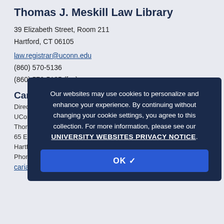Thomas J. Meskill Law Library
39 Elizabeth Street, Room 211
Hartford, CT 06105
law.registrar@uconn.edu
(860) 570-5136
(860) 570-5135 (fax)
Carrianna Field
Director... UConn... Thomas J.... 65 Elizabeth Street
Hartford, CT 06105-2290
Phone: (860) 57...
carianna.field@...
Our websites may use cookies to personalize and enhance your experience. By continuing without changing your cookie settings, you agree to this collection. For more information, please see our UNIVERSITY WEBSITES PRIVACY NOTICE.
OK ✓